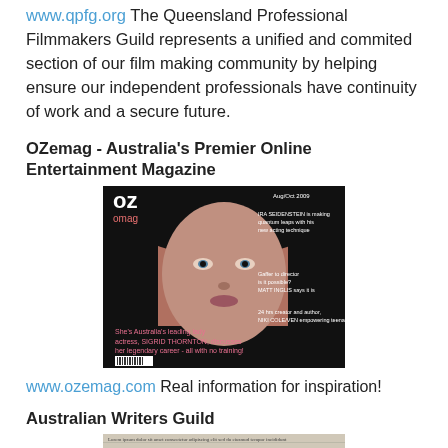www.qpfg.org The Queensland Professional Filmmakers Guild represents a unified and commited section of our film making community by helping ensure our independent professionals have continuity of work and a secure future.
OZemag - Australia's Premier Online Entertainment Magazine
[Figure (photo): Cover of OZ mag magazine featuring a woman with dark hair on the cover, text overlaid including 'She's Australia's leading lady actress, SIGRID THORNTON, discusses her legendary career - all with no training!']
www.ozemag.com Real information for inspiration!
Australian Writers Guild
[Figure (photo): Close-up photo of a pen or pencil resting on printed text/paper]